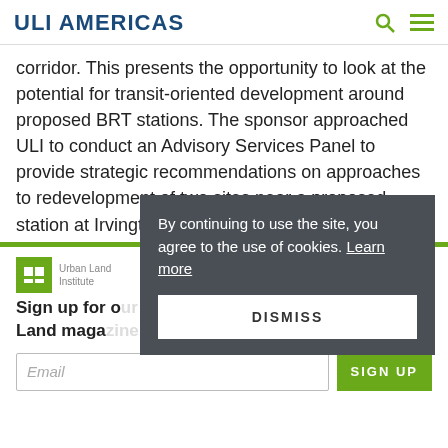ULI AMERICAS
corridor. This presents the opportunity to look at the potential for transit-oriented development around proposed BRT stations. The sponsor approached ULI to conduct an Advisory Services Panel to provide strategic recommendations on approaches to redevelopment of two sites near a proposed station at Irvington Plaza. The panel was also asked
[Figure (logo): Urban Land Institute ULI logo in green square]
Sign up for our e-newsletter and Land maga
By continuing to use the site, you agree to the use of cookies. Learn more
DISMISS
Email
SIGN UP